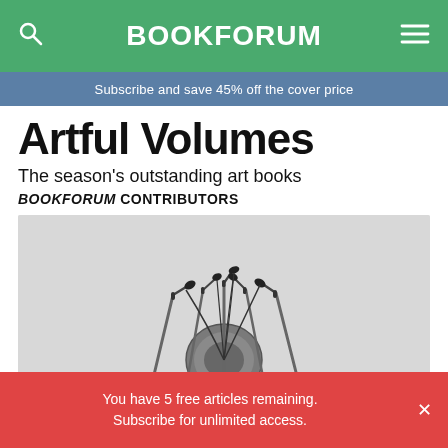BOOKFORUM
Subscribe and save 45% off the cover price
Artful Volumes
The season's outstanding art books
BOOKFORUM CONTRIBUTORS
[Figure (photo): Photo of microphone stands arranged in an artistic installation, with cables connecting them and a circular object in the center, on a light gray background.]
You have 5 free articles remaining. Subscribe for unlimited access.